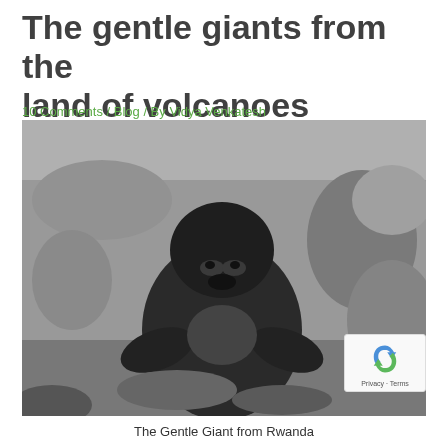The gentle giants from the land of volcanoes
10 Comments / Blog / By Vidya Venkatesh
[Figure (photo): Black and white photograph of a large gorilla (silverback) sitting amid jungle foliage in Rwanda]
The Gentle Giant from Rwanda